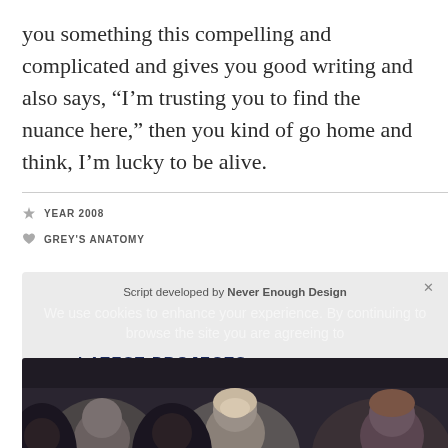you something this compelling and complicated and gives you good writing and also says, “I’m trusting you to find the nuance here,” then you kind of go home and think, I’m lucky to be alive.
YEAR 2008
GREY'S ANATOMY
Script developed by Never Enough Design
We use cookies to enhance your experience. By continuing to browse the site you are agreeing to
LATEST PROJECTS
[Figure (photo): Group of people, partial faces visible, dark toned photograph]